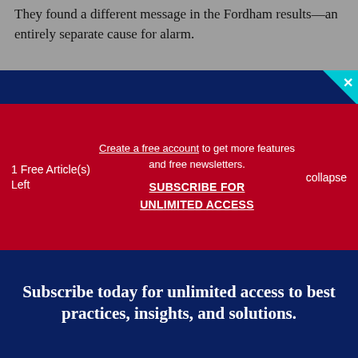They found a different message in the Fordham results—an entirely separate cause for alarm.
1 Free Article(s) Left
Create a free account to get more features and free newsletters.
SUBSCRIBE FOR UNLIMITED ACCESS
collapse
Subscribe today for unlimited access to best practices, insights, and solutions.
SUBSCRIBE